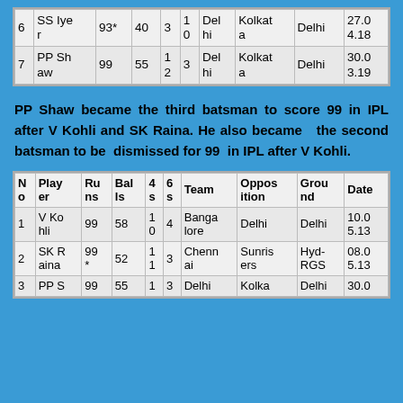| No | Player | Runs | Balls | 4s | 6s | Team | Opposition | Ground | Date |
| --- | --- | --- | --- | --- | --- | --- | --- | --- | --- |
| 6 | SS Iyer | 93* | 40 | 3 | 10 | Delhi | Kolkata | Delhi | 27.04.18 |
| 7 | PP Shaw | 99 | 55 | 12 | 3 | Delhi | Kolkata | Delhi | 30.03.19 |
PP Shaw became the third batsman to score 99 in IPL after V Kohli and SK Raina. He also became the second batsman to be dismissed for 99 in IPL after V Kohli.
| No | Player | Runs | Balls | 4s | 6s | Team | Opposition | Ground | Date |
| --- | --- | --- | --- | --- | --- | --- | --- | --- | --- |
| 1 | V Kohli | 99 | 58 | 10 | 4 | Bangalore | Delhi | Delhi | 10.05.13 |
| 2 | SK Raina | 99* | 52 | 11 | 3 | Chennai | Sunrisers | Hyd-RGS | 08.05.13 |
| 3 | PP S... | 99 | 55 | 1 | 3 | Delhi | Kolka | Delhi | 30.0 |